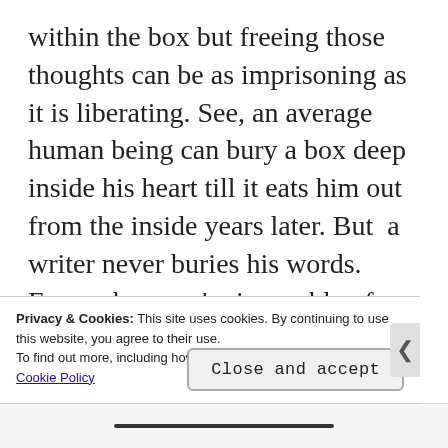within the box but freeing those thoughts can be as imprisoning as it is liberating. See, an average human being can bury a box deep inside his heart till it eats him out from the inside years later. But  a writer never buries his words. Even when you're incapable of writing, you still see words floating around your head. Awkward sentences, illogical riddles. Never does a single night pass by that a writer doesn't playback certain moments in his head and builds up on them till the thin line between fiction and non-fiction becomes invisible.
Privacy & Cookies: This site uses cookies. By continuing to use this website, you agree to their use.
To find out more, including how to control cookies, see here:
Cookie Policy
Close and accept